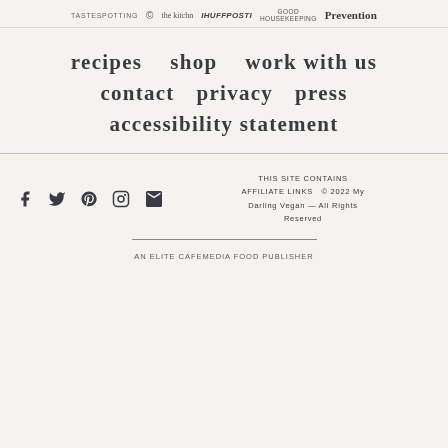TASTESPOTTING  © the kitchn  IHUFFPOSTI  GOOD HOUSEKEEPING  Prevention
recipes
shop
work with us
contact
privacy
press
accessibility statement
[Figure (other): Social media icons: Facebook, Twitter, Pinterest, Instagram, Email]
THIS SITE CONTAINS AFFILIATE LINKS  © 2022 My Darling Vegan — All Rights Reserved
AN ELITE CAFEMEDIA FOOD PUBLISHER